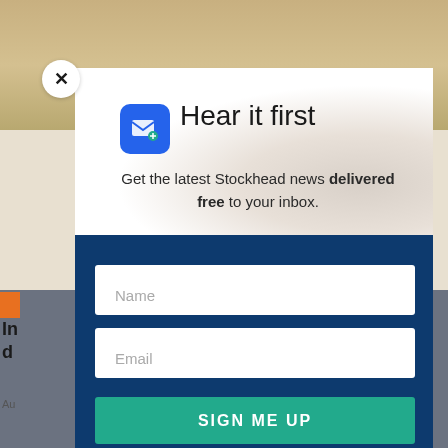[Figure (screenshot): Background webpage screenshot with blurred content behind a modal popup overlay]
Hear it first
Get the latest Stockhead news delivered free to your inbox.
Name
Email
SIGN ME UP